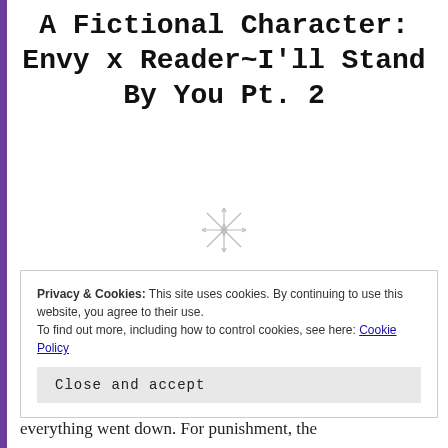A Fictional Character: Envy x Reader~I'll Stand By You Pt. 2
[Figure (illustration): Decorative sparkle/star ornament divider]
You stood in front of your front door as your shifted the grocery bags onto your left arm so you could find you keys. Usually, you'd get takeout or bribe Edward into getting the groceries for you if he were nearby. He usually made a huge stink about doing it, but it
Privacy & Cookies: This site uses cookies. By continuing to use this website, you agree to their use.
To find out more, including how to control cookies, see here: Cookie Policy
Close and accept
everything went down. For punishment, the